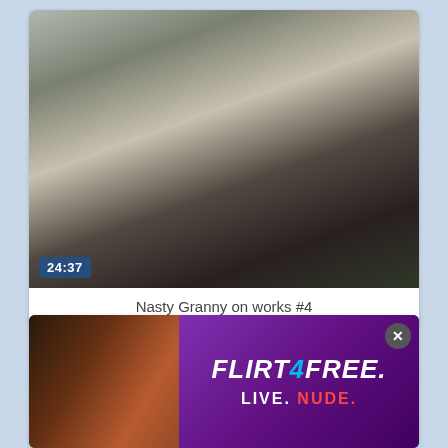[Figure (photo): Video thumbnail showing two people on a couch, duration badge showing 24:37]
Nasty Granny on works #4
[Figure (photo): Advertisement for Flirt4Free with text LIVE. NUDE. and a close button X]